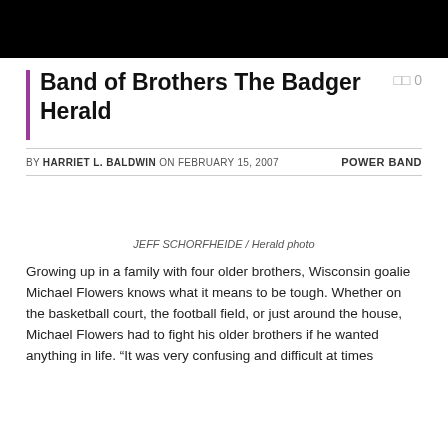[Figure (photo): Black banner/header image at top of page]
Band of Brothers The Badger Herald
JEFF SCHORFHEIDE / Herald photo
BY HARRIET L. BALDWIN ON FEBRUARY 15, 2007   POWER BAND
Growing up in a family with four older brothers, Wisconsin goalie Michael Flowers knows what it means to be tough. Whether on the basketball court, the football field, or just around the house, Michael Flowers had to fight his older brothers if he wanted anything in life. “It was very confusing and difficult at times